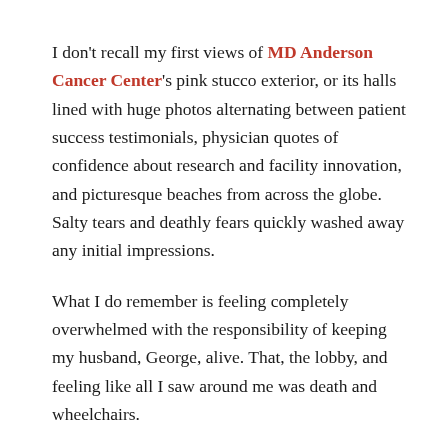I don't recall my first views of MD Anderson Cancer Center's pink stucco exterior, or its halls lined with huge photos alternating between patient success testimonials, physician quotes of confidence about research and facility innovation, and picturesque beaches from across the globe. Salty tears and deathly fears quickly washed away any initial impressions.
What I do remember is feeling completely overwhelmed with the responsibility of keeping my husband, George, alive. That, the lobby, and feeling like all I saw around me was death and wheelchairs.
George is a doctor, a really good one. But when he was diagnosed with recurrent metastatic melanoma, he needed to disconnect from the reality of what he faced and allow me to vet the medical